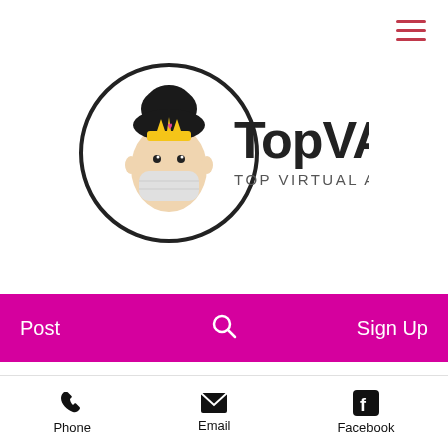[Figure (logo): TopVA Top Virtual Assistants logo: circular illustration of a woman with a crown and the text TopVA TOP VIRTUAL ASSISTANTS]
Post  Search  Sign Up
All Posts
TopVA 👑
May 26 · 3 min
3 Reasons Why You
Phone  Email  Facebook